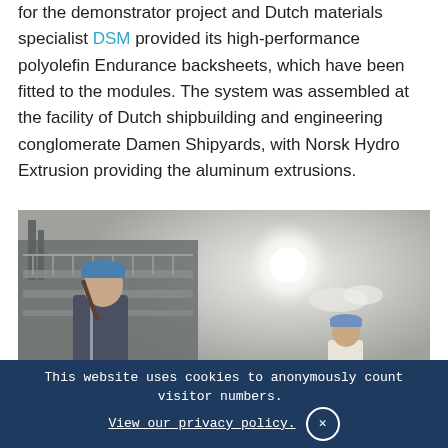for the demonstrator project and Dutch materials specialist DSM provided its high-performance polyolefin Endurance backsheets, which have been fitted to the modules. The system was assembled at the facility of Dutch shipbuilding and engineering conglomerate Damen Shipyards, with Norsk Hydro Extrusion providing the aluminum extrusions.
[Figure (photo): Two workers wearing blue hard hats at a shipyard or industrial facility, viewed from below against a bright overcast sky. A large structure or ship is visible in the background on the left.]
This website uses cookies to anonymously count visitor numbers. View our privacy policy.